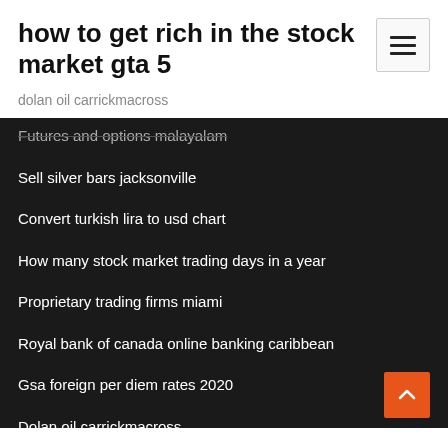how to get rich in the stock market gta 5
dolan oil carrickmacross
Futures and options malayalam
Sell silver bars jacksonville
Convert turkish lira to usd chart
How many stock market trading days in a year
Proprietary trading firms miami
Royal bank of canada online banking caribbean
Gsa foreign per diem rates 2020
Dolan oil carrickmacross
Trainee financial trader salary